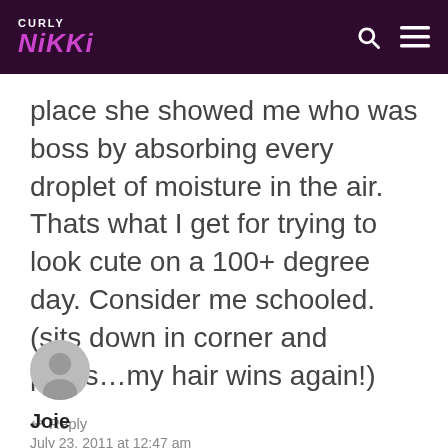CURLY NIKKI
place she showed me who was boss by absorbing every droplet of moisture in the air. Thats what I get for trying to look cute on a 100+ degree day. Consider me schooled. (sits down in corner and pouts…my hair wins again!)
Reply
Joie
July 23, 2011 at 12:47 am